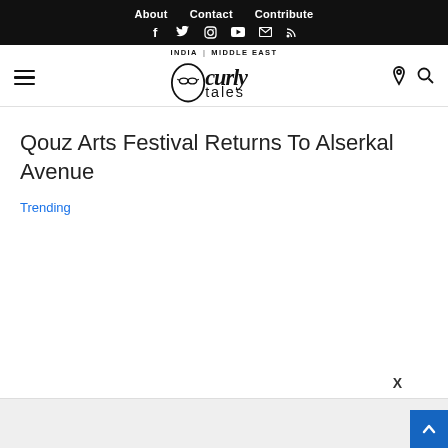About  Contact  Contribute
[Figure (logo): Curly Tales logo with INDIA | MIDDLE EAST region labels]
Qouz Arts Festival Returns To Alserkal Avenue
Trending